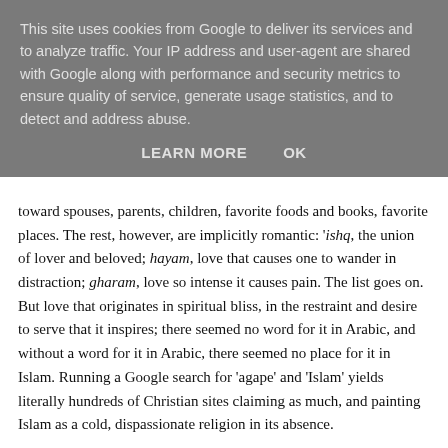This site uses cookies from Google to deliver its services and to analyze traffic. Your IP address and user-agent are shared with Google along with performance and security metrics to ensure quality of service, generate usage statistics, and to detect and address abuse.
LEARN MORE    OK
toward spouses, parents, children, favorite foods and books, favorite places. The rest, however, are implicitly romantic: 'ishq, the union of lover and beloved; hayam, love that causes one to wander in distraction; gharam, love so intense it causes pain. The list goes on. But love that originates in spiritual bliss, in the restraint and desire to serve that it inspires; there seemed no word for it in Arabic, and without a word for it in Arabic, there seemed no place for it in Islam. Running a Google search for 'agape' and 'Islam' yields literally hundreds of Christian sites claiming as much, and painting Islam as a cold, dispassionate religion in its absence.
Over the years, Sufi Muslims have co-opted many of the romantic Arabic words for love and made them serve an